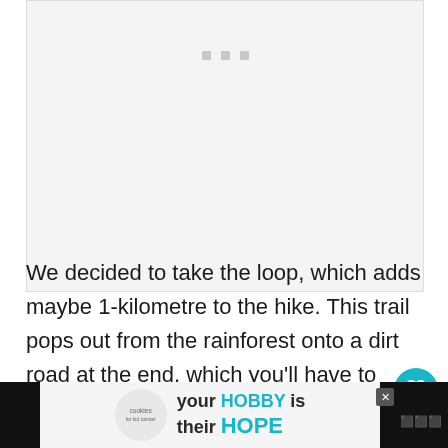[Figure (photo): Loading image placeholder with three grey dots on light grey background]
We decided to take the loop, which adds maybe 1-kilometre to the hike. This trail pops out from the rainforest onto a dirt road at the end, which you'll have to follow for about 700 metres before re...
[Figure (screenshot): Advertisement banner: 'your HOBBY is their HOPE' with cookies for kids cancer badge, and a close button, on dark background with share/heart UI buttons visible]